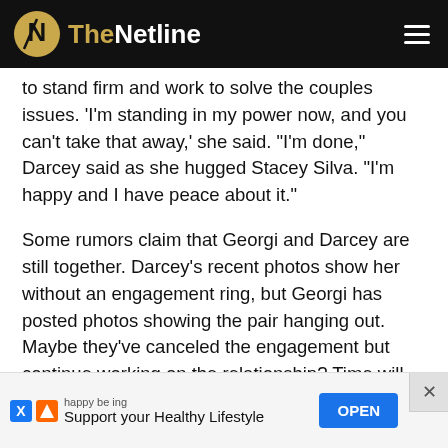TheNetline
to stand firm and work to solve the couples issues. 'I'm standing in my power now, and you can't take that away,' she said. 'I'm done,' Darcey said as she hugged Stacey Silva. 'I'm happy and I have peace about it.'
Some rumors claim that Georgi and Darcey are still together. Darcey's recent photos show her without an engagement ring, but Georgi has posted photos showing the pair hanging out. Maybe they've canceled the engagement but continue working on the relationship? Time will tell.
The couple were both committed to pursuing a long-term relationship
[Figure (other): Advertisement banner: 'happy being / Support your Healthy Lifestyle' with OPEN button]